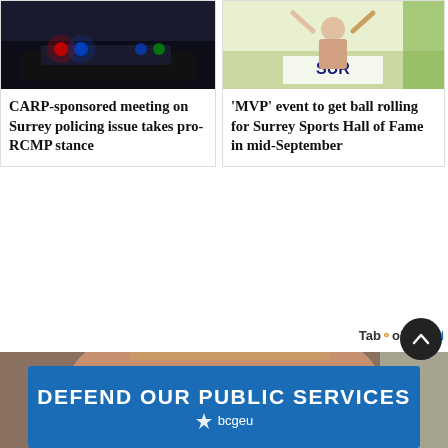[Figure (photo): Police car with flashing blue and red lights at night]
CARP-sponsored meeting on Surrey policing issue takes pro-RCMP stance
[Figure (photo): Person at City of Surrey event holding up arms, 'SUR' banner visible]
'MVP' event to get ball rolling for Surrey Sports Hall of Fame in mid-September
Taboola Feed
[Figure (photo): Close-up portrait of a bearded man with flowers visible in the background]
[Figure (other): Advertisement banner: DEFEND OUR PUBLIC SERVICES with bcgeu logo]